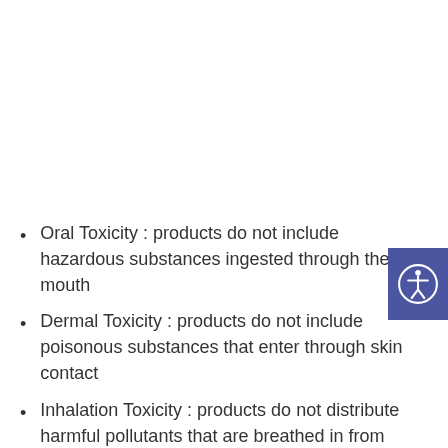Oral Toxicity : products do not include hazardous substances ingested through the mouth
Dermal Toxicity : products do not include poisonous substances that enter through skin contact
Inhalation Toxicity : products do not distribute harmful pollutants that are breathed in from the atmosphere